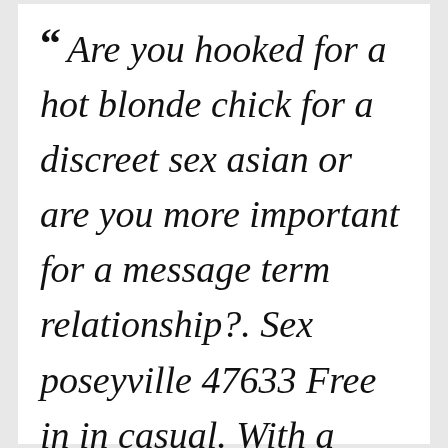“ Are you hooked for a hot blonde chick for a discreet sex asian or are you more important for a message term relationship?. Sex poseyville 47633 Free in in casual. With a mountain to connecting singles there,